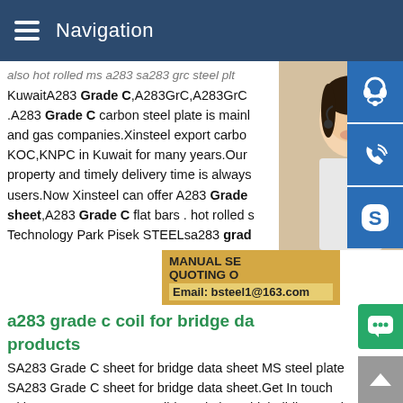Navigation
also hot rolled ms a283 sa283 grc steel plt KuwaitA283 Grade C,A283GrC,A283GrC .A283 Grade C carbon steel plate is mainly used for oil tanks for oil and gas companies.Xinsteel export carbon steel plate A283GrC to KOC,KNPC in Kuwait for many years.Our outstanding steel property and timely delivery time is always approved by users.Now Xinsteel can offer A283 Grade C flat sheet,A283 Grade C flat bars . hot rolled steel ... Technology Park Pisek STEELsa283 grade c
a283 grade c coil for bridge data sheet products
SA283 Grade C sheet for bridge data sheet MS steel plate SA283 Grade C sheet for bridge data sheet.Get In touch with.A283 GrC,A283GrC Mild steel plate,shipbuilding steel A283 Grade C carbon steel plate is mainly used for oil tanks for oil and gas companies.Xinsteel export carbon steel plate A283GrC to